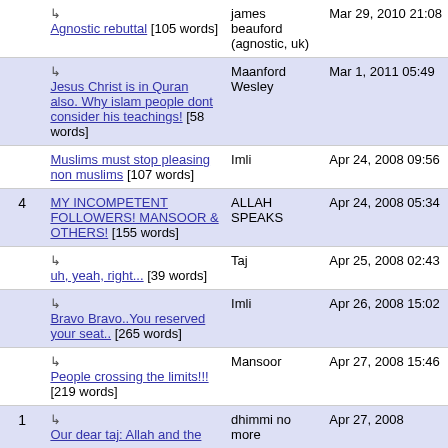| # | Title | Author | Date |
| --- | --- | --- | --- |
|  | ↳ Agnostic rebuttal [105 words] | james beauford (agnostic, uk) | Mar 29, 2010 21:08 |
|  | ↳ Jesus Christ is in Quran also. Why islam people dont consider his teachings! [58 words] | Maanford Wesley | Mar 1, 2011 05:49 |
|  | Muslims must stop pleasing non muslims [107 words] | Imli | Apr 24, 2008 09:56 |
| 4 | MY INCOMPETENT FOLLOWERS! MANSOOR & OTHERS! [155 words] | ALLAH SPEAKS | Apr 24, 2008 05:34 |
|  | ↳ uh, yeah, right... [39 words] | Taj | Apr 25, 2008 02:43 |
|  | ↳ Bravo Bravo..You reserved your seat.. [265 words] | Imli | Apr 26, 2008 15:02 |
|  | ↳ People crossing the limits!!! [219 words] | Mansoor | Apr 27, 2008 15:46 |
| 1 | ↳ Our dear taj: Allah and the | dhimmi no more | Apr 27, 2008 |